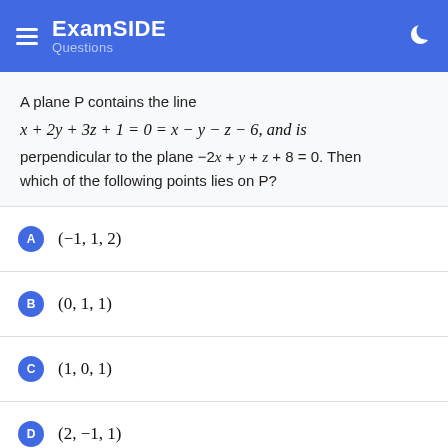ExamSIDE Questions
A plane P contains the line x + 2y + 3z + 1 = 0 = x − y − z − 6, and is perpendicular to the plane −2x + y + z + 8 = 0. Then which of the following points lies on P?
A) (−1, 1, 2)
B) (0, 1, 1)
C) (1, 0, 1)
D) (2, −1, 1)